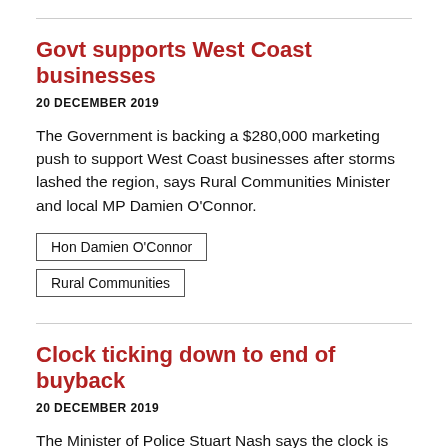Govt supports West Coast businesses
20 DECEMBER 2019
The Government is backing a $280,000 marketing push to support West Coast businesses after storms lashed the region, says Rural Communities Minister and local MP Damien O’Connor.
Hon Damien O’Connor
Rural Communities
Clock ticking down to end of buyback
20 DECEMBER 2019
The Minister of Police Stuart Nash says the clock is ticking down for firearms owners who wish to stay on the right side of